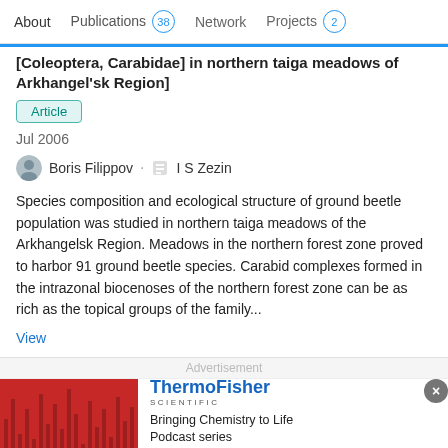About   Publications 38   Network   Projects 2
[Coleoptera, Carabidae] in northern taiga meadows of Arkhangel'sk Region]
Article
Jul 2006
Boris Filippov · I S Zezin
Species composition and ecological structure of ground beetle population was studied in northern taiga meadows of the Arkhangelsk Region. Meadows in the northern forest zone proved to harbor 91 ground beetle species. Carabid complexes formed in the intrazonal biocenoses of the northern forest zone can be as rich as the topical groups of the family...
View
Advertisement
[Figure (infographic): ThermoFisher Scientific advertisement banner: Bringing Chemistry to Life Podcast series Season 3. Listen now button.]